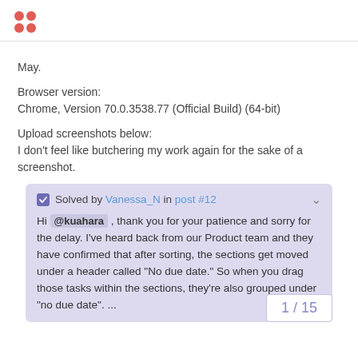May.
Browser version:
Chrome, Version 70.0.3538.77 (Official Build) (64-bit)
Upload screenshots below:
I don't feel like butchering my work again for the sake of a screenshot.
Solved by Vanessa_N in post #12
Hi @kuahara , thank you for your patience and sorry for the delay. I've heard back from our Product team and they have confirmed that after sorting, the sections get moved under a header called "No due date." So when you drag those tasks within the sections, they're also grouped under "no due date". ...
1 / 15